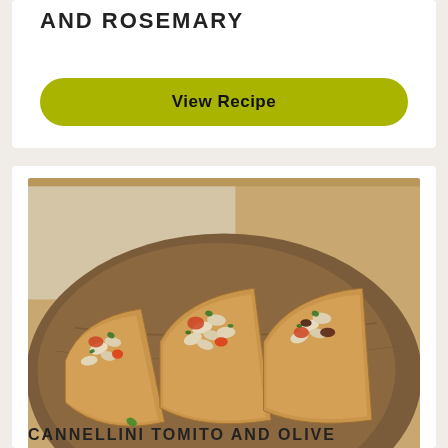AND ROSEMARY
View Recipe
[Figure (photo): Three slices of toasted bread topped with white cannellini beans, diced tomatoes, olives, and fresh parsley on a wooden cutting board]
Cannellini Tomato and Olive